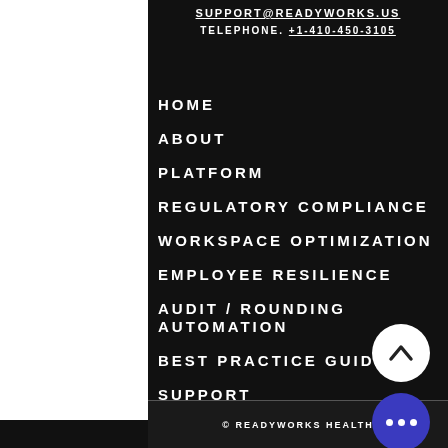SUPPORT@READYWORKS.US
TELEPHONE. +1-410-450-3105
HOME
ABOUT
PLATFORM
REGULATORY COMPLIANCE
WORKSPACE OPTIMIZATION
EMPLOYEE RESILIENCE
AUDIT / ROUNDING AUTOMATION
BEST PRACTICE GUIDANCE
SUPPORT
[Figure (illustration): White circular button with upward chevron arrow]
[Figure (illustration): Purple/indigo circular button with three white dots]
© READYWORKS HEALTH